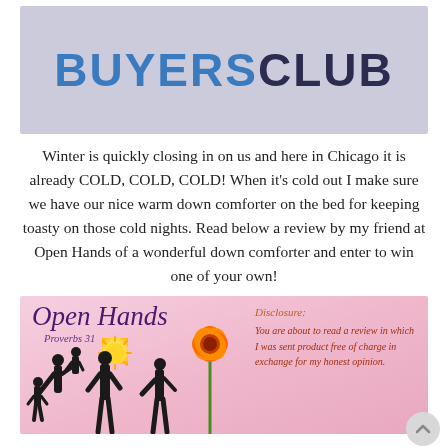[Figure (logo): BUYERSCLUB logo in blue and dark navy on light lavender/grey background]
Winter is quickly closing in on us and here in Chicago it is already COLD, COLD, COLD! When it's cold out I make sure we have our nice warm down comforter on the bed for keeping toasty on those cold nights. Read below a review by my friend at Open Hands of a wonderful down comforter and enter to win one of your own!
[Figure (illustration): Open Hands Proverbs 31 banner with script logo, sun, family silhouettes, orange flowers, and a disclosure text reading: Disclosure: You are about to read a review in which I was sent product free of charge in exchange for my honest opinion.]
Brrr....baby it's cold outside!! Well, at least in our neck of the woods. There are some things I